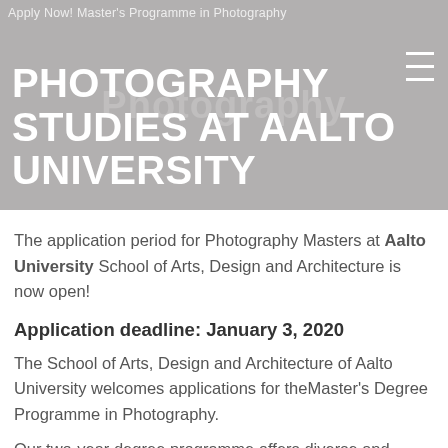Apply Now! Master's Programme in Photography
PHOTOGRAPHY STUDIES AT AALTO UNIVERSITY
The application period for Photography Masters at Aalto University School of Arts, Design and Architecture is now open!
Application deadline: January 3, 2020
The School of Arts, Design and Architecture of Aalto University welcomes applications for theMaster's Degree Programme in Photography.
Our two-year degree programme offers diverse and